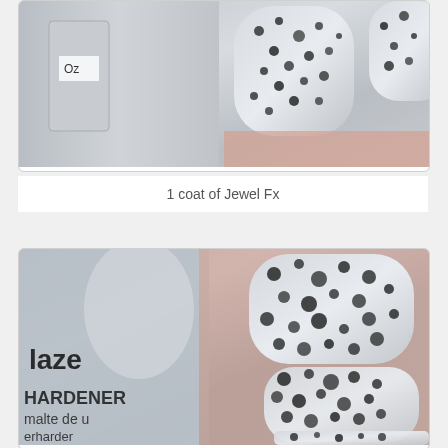[Figure (photo): Close-up photo of silver glitter nail polish on fingernails with a nail polish bottle visible, showing 1 coat of Jewel Fx]
1 coat of Jewel Fx
[Figure (photo): Close-up macro photo of silver hexagonal glitter nail polish on fingernails with a China Glaze nail hardener bottle visible in background, showing text 'laze', 'HARDENER', 'malte de u', 'erharder']